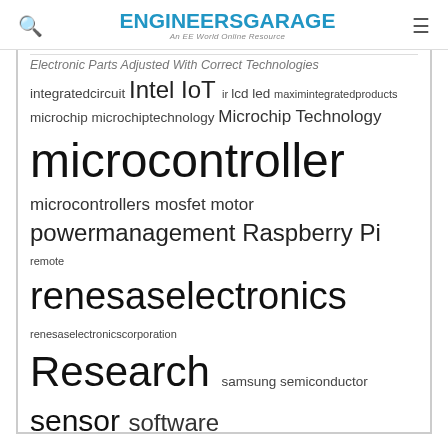ENGINEERS GARAGE — An EE World Online Resource
Electronic Parts Adjusted With Correct Technologies — integratedcircuit Intel IoT ir lcd led maximintegratedproducts microchip microchiptechnology Microchip Technology microcontroller microcontrollers mosfet motor powermanagement Raspberry Pi remote renesaselectronics renesaselectronicscorporation Research samsung semiconductor sensor software STMicroelectronics switch Technology vishayintertechnology wireless